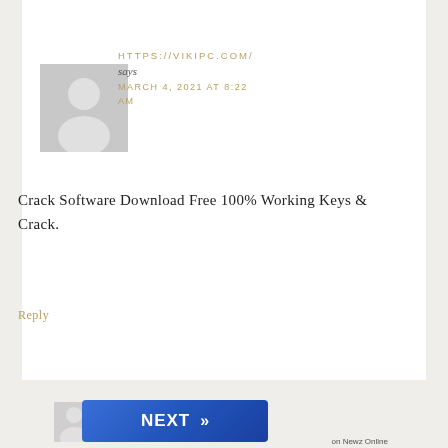[Figure (illustration): Default grey avatar/profile placeholder image showing silhouette of a person with circular head and shoulder shape]
HTTPS://VIKIPC.COM/ says MARCH 4, 2021 AT 8:22 AM
Crack Software Download Free 100% Working Keys & Crack.
Reply
[Figure (screenshot): Blue gradient NEXT button with double-chevron arrows (>>) on right side]
on Newz Online